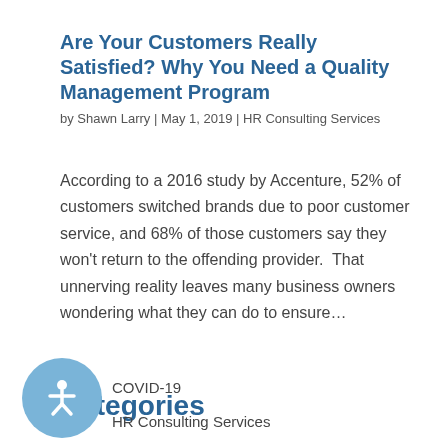Are Your Customers Really Satisfied? Why You Need a Quality Management Program
by Shawn Larry | May 1, 2019 | HR Consulting Services
According to a 2016 study by Accenture, 52% of customers switched brands due to poor customer service, and 68% of those customers say they won't return to the offending provider.  That unnerving reality leaves many business owners wondering what they can do to ensure…
Categories
COVID-19
HR Consulting Services